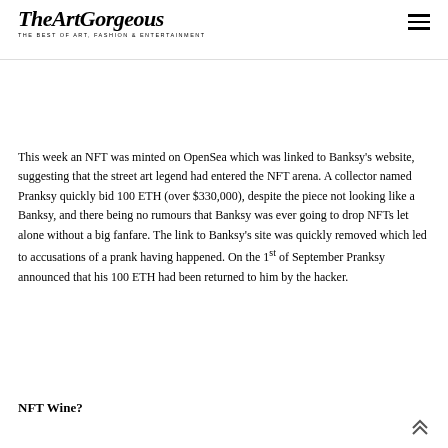TheArtGorgeous — THE BEST OF ART, FASHION & ENTERTAINMENT
This week an NFT was minted on OpenSea which was linked to Banksy's website, suggesting that the street art legend had entered the NFT arena. A collector named Pranksy quickly bid 100 ETH (over $330,000), despite the piece not looking like a Banksy, and there being no rumours that Banksy was ever going to drop NFTs let alone without a big fanfare. The link to Banksy's site was quickly removed which led to accusations of a prank having happened. On the 1st of September Pranksy announced that his 100 ETH had been returned to him by the hacker.
NFT Wine?